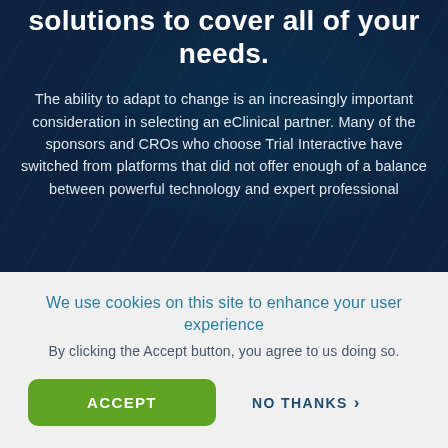solutions to cover all of your needs.
The ability to adapt to change is an increasingly important consideration in selecting an eClinical partner. Many of the sponsors and CROs who choose Trial Interactive have switched from platforms that did not offer enough of a balance between powerful technology and expert professional
We use cookies on this site to enhance your user experience
By clicking the Accept button, you agree to us doing so.